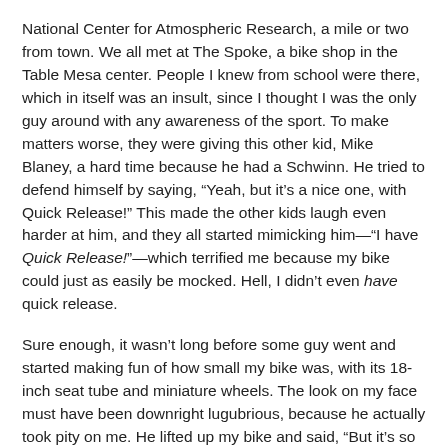National Center for Atmospheric Research, a mile or two from town. We all met at The Spoke, a bike shop in the Table Mesa center. People I knew from school were there, which in itself was an insult, since I thought I was the only guy around with any awareness of the sport. To make matters worse, they were giving this other kid, Mike Blaney, a hard time because he had a Schwinn. He tried to defend himself by saying, “Yeah, but it’s a nice one, with Quick Release!” This made the other kids laugh even harder at him, and they all started mimicking him—“I have Quick Release!”—which terrified me because my bike could just as easily be mocked. Hell, I didn’t even have quick release.
Sure enough, it wasn’t long before some guy went and started making fun of how small my bike was, with its 18-inch seat tube and miniature wheels. The look on my face must have been downright lugubrious, because he actually took pity on me. He lifted up my bike and said, “But it’s so light!” (Of course it wasn’t.) Just like that, the expected fusillade of teasing never materialized. Paradoxically, everyone's restraint in razzing me became an insult in itself, as thought they knew I couldn’t handle a little verbal abuse.